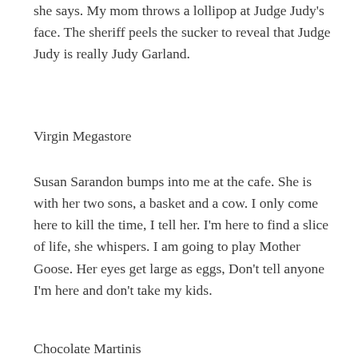she says. My mom throws a lollipop at Judge Judy's face. The sheriff peels the sucker to reveal that Judge Judy is really Judy Garland.
Virgin Megastore
Susan Sarandon bumps into me at the cafe. She is with her two sons, a basket and a cow. I only come here to kill the time, I tell her. I'm here to find a slice of life, she whispers. I am going to play Mother Goose. Her eyes get large as eggs, Don't tell anyone I'm here and don't take my kids.
Chocolate Martinis